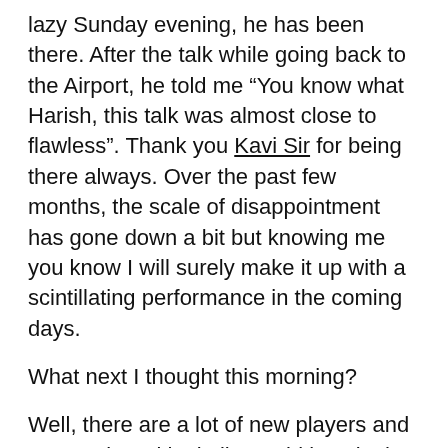lazy Sunday evening, he has been there. After the talk while going back to the Airport, he told me “You know what Harish, this talk was almost close to flawless”. Thank you Kavi Sir for being there always. Over the past few months, the scale of disappointment has gone down a bit but knowing me you know I will surely make it up with a scintillating performance in the coming days.
What next I thought this morning?
Well, there are a lot of new players and companies with similar ambitions in the fray. Some of them are headed with people who once shared the ambition with me. Have a few things up my sleeve and I want to make the most of it. Its time to create something which will redefine the market & create a new